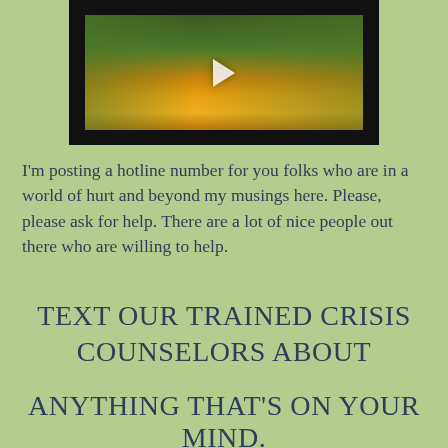[Figure (screenshot): A video player thumbnail showing an outdoor scene with a yellow/orange path or slide and greenery, with a play button overlay on a black background border.]
I'm posting a hotline number for you folks who are in a world of hurt and beyond my musings here. Please, please ask for help. There are a lot of nice people out there who are willing to help.
TEXT OUR TRAINED CRISIS COUNSELORS ABOUT
ANYTHING THAT'S ON YOUR MIND.